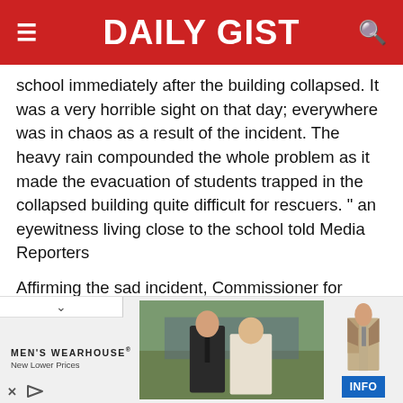DAILY GIST
school immediately after the building collapsed. It was a very horrible sight on that day; everywhere was in chaos as a result of the incident. The heavy rain compounded the whole problem as it made the evacuation of students trapped in the collapsed building quite difficult for rescuers. " an eyewitness living close to the school told Media Reporters
Affirming the sad incident, Commissioner for Quality Education in Cross River State, identified Mr Godwin Amanke, said that the state government is working with the rities of the school to guarantee that such a
[Figure (photo): Advertisement banner for Men's Wearhouse showing a couple at a formal event and a man in a suit, with 'New Lower Prices' tagline and INFO button]